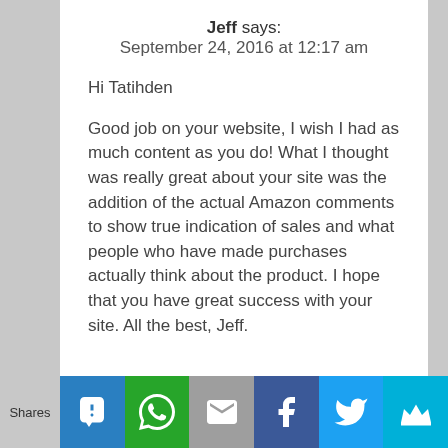Jeff says:
September 24, 2016 at 12:17 am
Hi Tatihden
Good job on your website, I wish I had as much content as you do! What I thought was really great about your site was the addition of the actual Amazon comments to show true indication of sales and what people who have made purchases actually think about the product. I hope that you have great success with your site. All the best, Jeff.